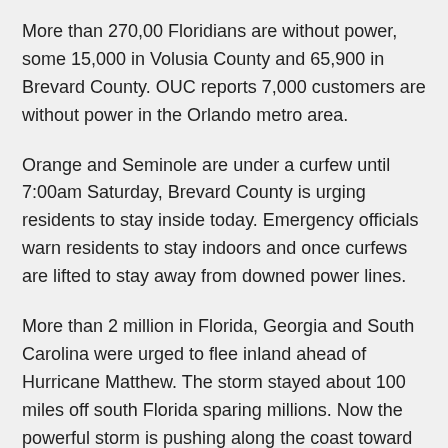More than 270,00 Floridians are without power, some 15,000 in Volusia County and 65,900 in Brevard County. OUC reports 7,000 customers are without power in the Orlando metro area.
Orange and Seminole are under a curfew until 7:00am Saturday, Brevard County is urging residents to stay inside today. Emergency officials warn residents to stay indoors and once curfews are lifted to stay away from downed power lines.
More than 2 million in Florida, Georgia and South Carolina were urged to flee inland ahead of Hurricane Matthew. The storm stayed about 100 miles off south Florida sparing millions. Now the powerful storm is pushing along the coast toward Georgia and South Carolina. Forecasters expect Matthew to reach the Florida-Georgia line by late Friday night. The hurrica...